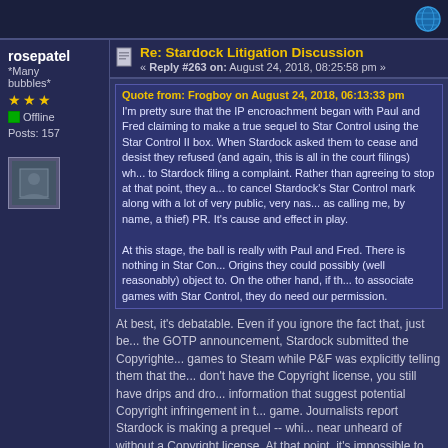rosepatel *Many bubbles* Offline Posts: 157
Re: Stardock Litigation Discussion
« Reply #263 on: August 24, 2018, 08:25:58 pm »
Quote from: Frogboy on August 24, 2018, 06:13:33 pm
I'm pretty sure that the IP encroachment began with Paul and Fred claiming to make a true sequel to Star Control using the Star Control II box. When Stardock asked them to cease and desist they refused (and again, this is all in the court filings) which led to Stardock filing a complaint. Rather than agreeing to stop at that point, they also filed to cancel Stardock's Star Control mark along with a lot of very public, very nasty (such as calling me, by name, a thief) PR. It's cause and effect in play.

At this stage, the ball is really with Paul and Fred. There is nothing in Star Control: Origins they could possibly (well reasonably) object to. On the other hand, if they want to associate games with Star Control, they do need our permission.
At best, it's debatable. Even if you ignore the fact that, just before the GOTP announcement, Stardock submitted the Copyrighted games to Steam while P&F was explicitly telling them that they don't have the Copyright license, you still have drips and drops of information that suggest potential Copyright infringement in the game. Journalists report Stardock is making a prequel -- which is near unheard of without a Copyright license. At that point, it's impossible to see what Stardock is putting in their unlicensed prequel, but you're hearing people talk about the game taking place just after the Androsynth rebellion, you have Super Melee, you have the Dreadnaught and the Eluder ships quietly being added to the game.
If you told me that's a pretty trivial amount of stuff to con...